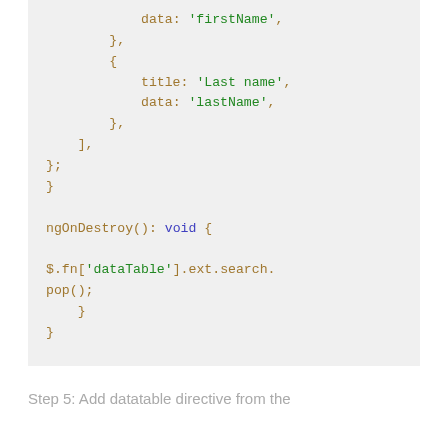[Figure (screenshot): Code block showing Angular component code with ngOnDestroy method and DataTables column definitions]
Step 5: Add datatable directive from the